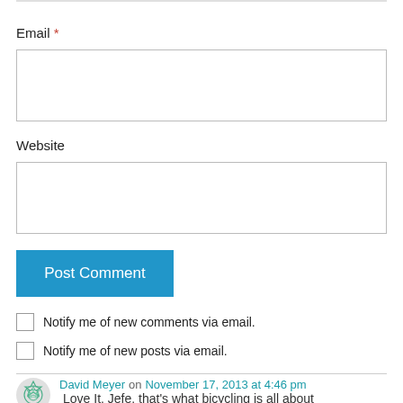Email *
Website
Post Comment
Notify me of new comments via email.
Notify me of new posts via email.
David Meyer on November 17, 2013 at 4:46 pm
Love It. Jefe, that's what bicycling is all about